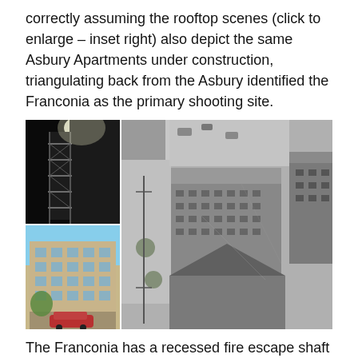correctly assuming the rooftop scenes (click to enlarge – inset right) also depict the same Asbury Apartments under construction, triangulating back from the Asbury identified the Franconia as the primary shooting site.
[Figure (photo): Composite image: top-left is a nighttime photo of a building fire escape shaft; bottom-left is a daytime photo of a multi-story brick apartment building (the Franconia) with a car in front; right is a large aerial black-and-white photograph of urban buildings and streets.]
The Franconia has a recessed fire escape shaft on each wing facing Coronado Street, put to good use as the cops